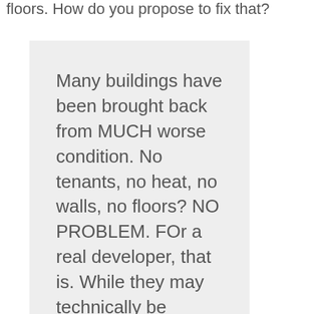floors. How do you propose to fix that?
Many buildings have been brought back from MUCH worse condition. No tenants, no heat, no walls, no floors? NO PROBLEM. FOr a real developer, that is. While they may technically be private property, these buildings are in the public interest as their condition and existence affects all other